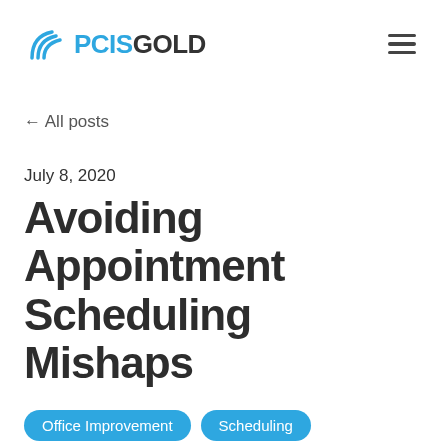PCISGOLD
← All posts
July 8, 2020
Avoiding Appointment Scheduling Mishaps
Office Improvement
Scheduling